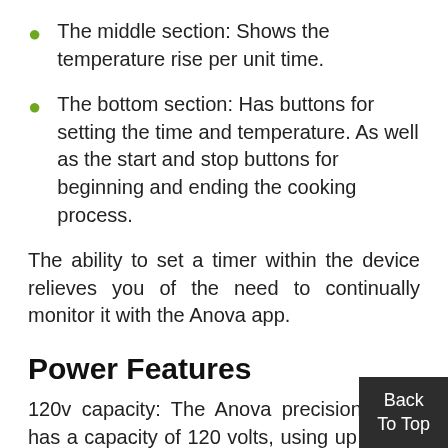The middle section: Shows the temperature rise per unit time.
The bottom section: Has buttons for setting the time and temperature. As well as the start and stop buttons for beginning and ending the cooking process.
The ability to set a timer within the device relieves you of the need to continually monitor it with the Anova app.
Power Features
120v capacity: The Anova precision Nano has a capacity of 120 volts, using up to 750 watts to give